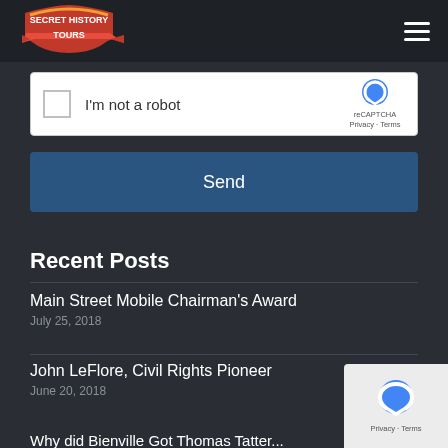Secret History Tours
[Figure (screenshot): reCAPTCHA widget with checkbox and 'I'm not a robot' label]
Send
Recent Posts
Main Street Mobile Chairman’s Award
July 25, 2018
John LeFlore, Civil Rights Pioneer
June 20, 2018
Why did Bienville Get Thomas Tatter...